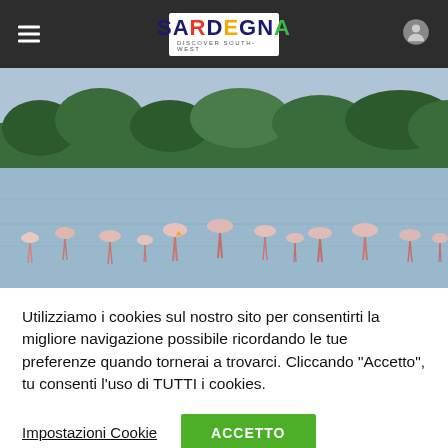[Figure (logo): Sardegna Discover South-West logo on dark navigation bar with hamburger menu and user icon]
[Figure (photo): Flamingos wading in a shallow lagoon with green trees and sky in the background — Sardinia nature scene]
Utilizziamo i cookies sul nostro sito per consentirti la migliore navigazione possibile ricordando le tue preferenze quando tornerai a trovarci. Cliccando "Accetto", tu consenti l'uso di TUTTI i cookies.
Impostazioni Cookie
ACCETTO